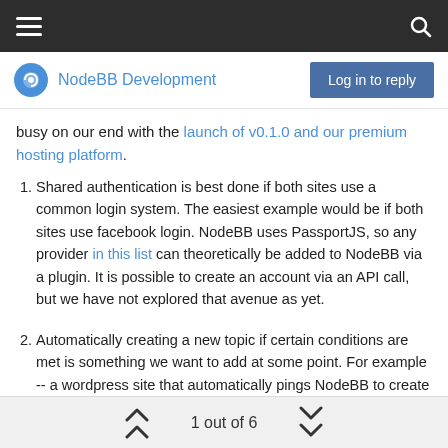☰  🔍
NodeBB Development
busy on our end with the launch of v0.1.0 and our premium hosting platform.
Shared authentication is best done if both sites use a common login system. The easiest example would be if both sites use facebook login. NodeBB uses PassportJS, so any provider in this list can theoretically be added to NodeBB via a plugin. It is possible to create an account via an API call, but we have not explored that avenue as yet.
Automatically creating a new topic if certain conditions are met is something we want to add at some point. For example -- a wordpress site that automatically pings NodeBB to create a new topic every time a new blog post is written. This can be done with a pair of plugins, one for wordpress, and another for NodeBB.
1 out of 6